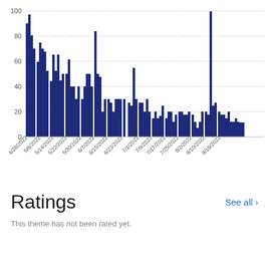[Figure (bar-chart): ]
Ratings
This theme has not been rated yet.